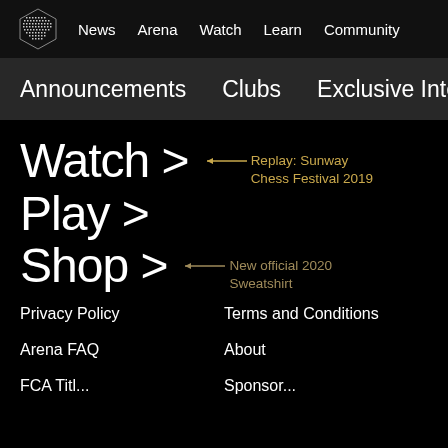News | Arena | Watch | Learn | Community
Announcements | Clubs | Exclusive Inter
Watch > ← Replay: Sunway Chess Festival 2019
Play >
Shop > ← New official 2020 Sweatshirt
Privacy Policy
Terms and Conditions
Arena FAQ
About
FCA Titl...